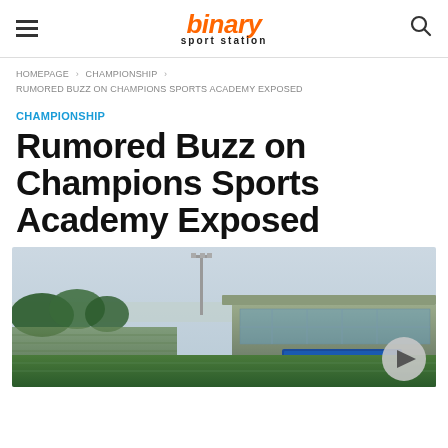binary sport station
HOMEPAGE › CHAMPIONSHIP › RUMORED BUZZ ON CHAMPIONS SPORTS ACADEMY EXPOSED
CHAMPIONSHIP
Rumored Buzz on Champions Sports Academy Exposed
[Figure (photo): Aerial/ground-level view of a sports stadium with bleachers, floodlights, trees, and a modern pavilion/clubhouse building on the right side. Green field visible in foreground.]